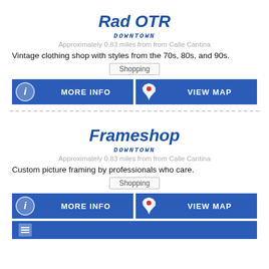Rad OTR
DOWNTOWN
Approximately 0.83 miles from from Calle Cantina
Vintage clothing shop with styles from the 70s, 80s, and 90s.
Shopping
MORE INFO
VIEW MAP
Frameshop
DOWNTOWN
Approximately 0.83 miles from from Calle Cantina
Custom picture framing by professionals who care.
Shopping
MORE INFO
VIEW MAP